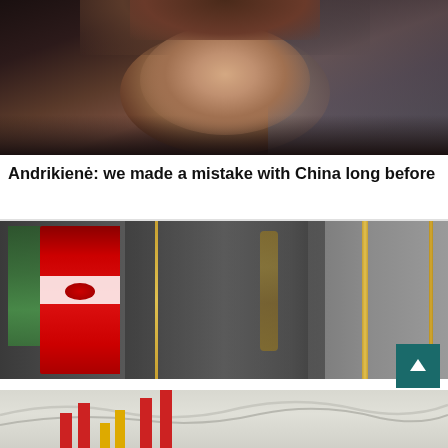[Figure (photo): Close-up portrait of a woman with short dark hair against a blurred background]
Andrikienė: we made a mistake with China long before
[Figure (photo): Photograph of red flags with white stripe and emblem on a building facade with gold door trim]
Vytautas Sinica. The dead-end of a “values-based” foreign policy
[Figure (photo): Abstract wave pattern with colored bar chart elements partially visible at bottom]